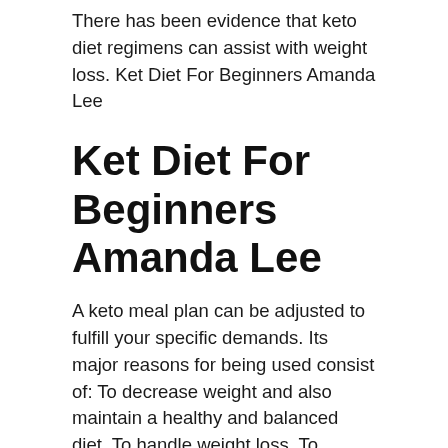There has been evidence that keto diet regimens can assist with weight loss. Ket Diet For Beginners Amanda Lee
Ket Diet For Beginners Amanda Lee
A keto meal plan can be adjusted to fulfill your specific demands. Its major reasons for being used consist of: To decrease weight and also maintain a healthy and balanced diet. To handle weight loss. To accomplish your optimal weight. Ket Diet For Beginners Amanda Lee
The most fundamental part of a keto dish plan is eating the best foods at the right